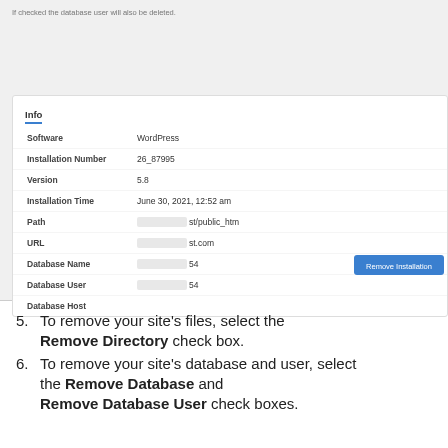If checked the database user will also be deleted.
Info
| Field | Value |
| --- | --- |
| Software | WordPress |
| Installation Number | 26_87995 |
| Version | 5.8 |
| Installation Time | June 30, 2021, 12:52 am |
| Path | [redacted]/st/public_htm |
| URL | [redacted]st.com |
| Database Name | [redacted]54 |
| Database User | [redacted]54 |
| Database Host |  |
[Figure (screenshot): Remove Installation button (blue)]
5. To remove your site's files, select the Remove Directory check box.
6. To remove your site's database and user, select the Remove Database and Remove Database User check boxes.